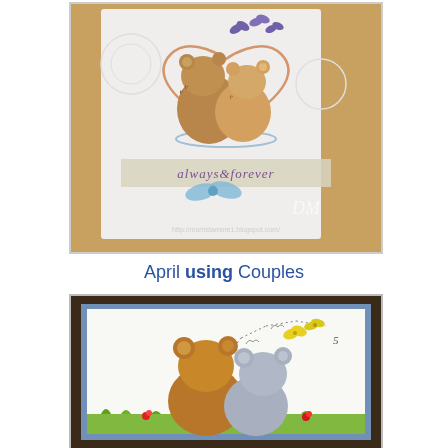[Figure (photo): A handmade greeting card featuring two teddy bears forming a heart shape, with purple butterflies above, on a white embossed background. A ribbon banner reads 'always & forever' with a blue bow. Watermark reads http://morristamme1.blogspot.com/ and DM logo.]
April using Couples
[Figure (photo): A framed artwork showing two teddy bears (one brown, one grey) sitting together from behind, watching yellow butterflies flying with dotted trail lines, with small red flowers and green grass at the bottom. Blue matted frame visible.]